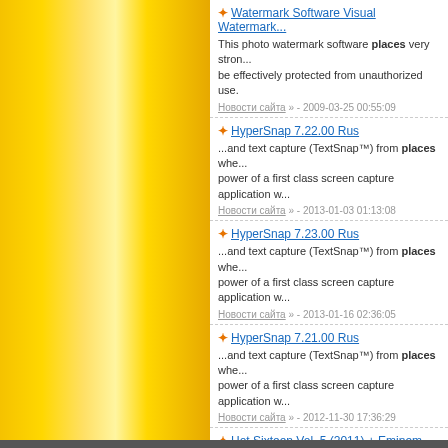Watermark Software Visual Watermark - This photo watermark software places very strong... be effectively protected from unauthorized use. Новости сайта » - 2009-03-25 00:55:09
HyperSnap 7.22.00 Rus - ...and text capture (TextSnap™) from places whe... power of a first class screen capture application w... Новости сайта » - 2013-01-03 01:13:08
HyperSnap 7.23.00 Rus - ...and text capture (TextSnap™) from places whe... power of a first class screen capture application w... Новости сайта » - 2013-01-16 02:36:05
HyperSnap 7.21.00 Rus - ...and text capture (TextSnap™) from places whe... power of a first class screen capture application w... Новости сайта » - 2012-11-30 17:36:29
Hot Sixteen Vol. 5 (2011) + Eminem - Trading Places Jadakiss 11. When I Come Back 13. Molasses (Feat. Новости сайта » - 2011-03-03 14:52:22